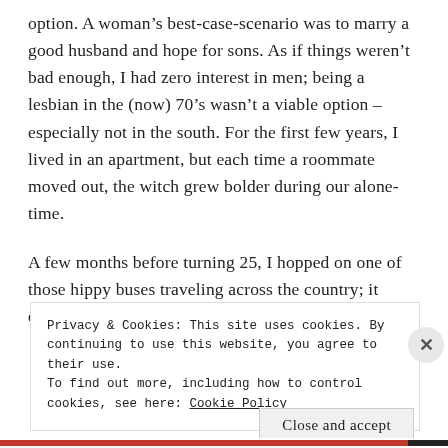option. A woman's best-case-scenario was to marry a good husband and hope for sons. As if things weren't bad enough, I had zero interest in men; being a lesbian in the (now) 70's wasn't a viable option – especially not in the south. For the first few years, I lived in an apartment, but each time a roommate moved out, the witch grew bolder during our alone-time.
A few months before turning 25, I hopped on one of those hippy buses traveling across the country; it didn't matter where I was as long as people were
Privacy & Cookies: This site uses cookies. By continuing to use this website, you agree to their use.
To find out more, including how to control cookies, see here: Cookie Policy